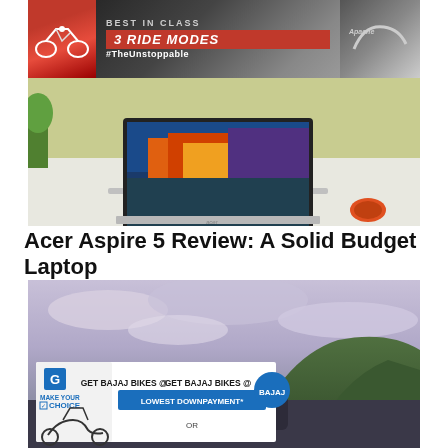[Figure (photo): Advertisement banner for Apache motorcycle - BEST IN CLASS 3 RIDE MODES #TheUnstoppable]
[Figure (photo): Photo of an Acer laptop (Aspire 5) on a white desk with colorful wallpaper on screen and orange mouse beside it]
Acer Aspire 5 Review: A Solid Budget Laptop
[Figure (photo): Photo of a scenic landscape with cloudy sky and green hills, with a Bajaj bikes advertisement overlay showing MAKE YOUR CHOICE GET BAJAJ BIKES @ LOWEST DOWNPAYMENT* OR]